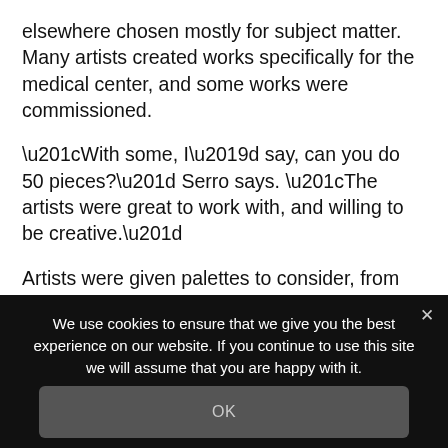elsewhere chosen mostly for subject matter. Many artists created works specifically for the medical center, and some works were commissioned.
“With some, I’d say, can you do 50 pieces?” Serro says. “The artists were great to work with, and willing to be creative.”
Artists were given palettes to consider, from the 40 or so hues used throughout the mammoth space. And some pieces were placed with healing in mind. The clinic, for example, has mostly muted pieces, lending a calm effect. Debra Folsom’s triptych of galloping horses in the physical
We use cookies to ensure that we give you the best experience on our website. If you continue to use this site we will assume that you are happy with it.
OK